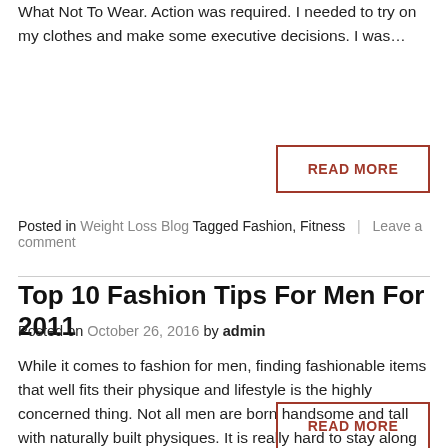What Not To Wear. Action was required. I needed to try on my clothes and make some executive decisions. I was…
READ MORE
Posted in Weight Loss Blog Tagged Fashion, Fitness | Leave a comment
Top 10 Fashion Tips For Men For 2011
Posted on October 26, 2016 by admin
While it comes to fashion for men, finding fashionable items that well fits their physique and lifestyle is the highly concerned thing. Not all men are born handsome and tall with naturally built physiques. It is really hard to stay along with a fashion accessory for a long while, since the trend changes rapidly. The same is in the case of fashion for both men and women. This article would feature the top ten fashion…
READ MORE